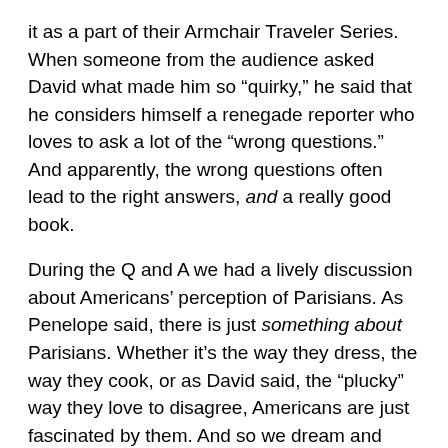it as a part of their Armchair Traveler Series. When someone from the audience asked David what made him so “quirky,” he said that he considers himself a renegade reporter who loves to ask a lot of the “wrong questions.” And apparently, the wrong questions often lead to the right answers, and a really good book.
During the Q and A we had a lively discussion about Americans’ perception of Parisians. As Penelope said, there is just something about Parisians. Whether it’s the way they dress, the way they cook, or as David said, the “plucky” way they love to disagree, Americans are just fascinated by them. And so we dream and read and write about Paris.
The audience included other notable writers, including Diane Johnson, the famous chronicler of the expatriate life